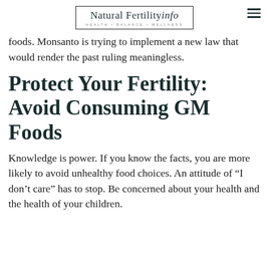Natural Fertility info — HEALTH • BALANCE • WELLNESS
foods. Monsanto is trying to implement a new law that would render the past ruling meaningless.
Protect Your Fertility: Avoid Consuming GM Foods
Knowledge is power. If you know the facts, you are more likely to avoid unhealthy food choices. An attitude of “I don’t care” has to stop. Be concerned about your health and the health of your children.